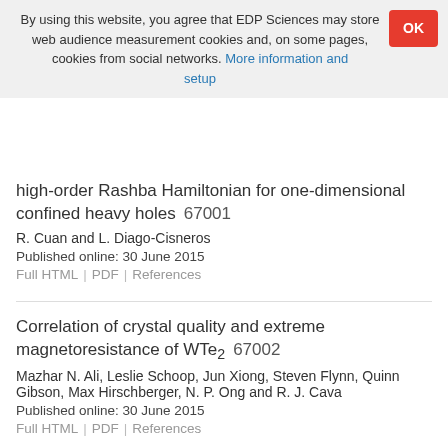By using this website, you agree that EDP Sciences may store web audience measurement cookies and, on some pages, cookies from social networks. More information and setup
high-order Rashba Hamiltonian for one-dimensional confined heavy holes   67001
R. Cuan and L. Diago-Cisneros
Published online: 30 June 2015
Full HTML | PDF | References
Correlation of crystal quality and extreme magnetoresistance of WTe2   67002
Mazhar N. Ali, Leslie Schoop, Jun Xiong, Steven Flynn, Quinn Gibson, Max Hirschberger, N. P. Ong and R. J. Cava
Published online: 30 June 2015
Full HTML | PDF | References
Steady-state thermodynamics of non-interacting